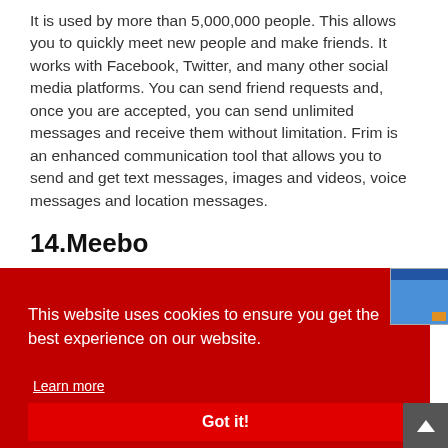It is used by more than 5,000,000 people. This allows you to quickly meet new people and make friends. It works with Facebook, Twitter, and many other social media platforms. You can send friend requests and, once you are accepted, you can send unlimited messages and receive them without limitation. Frim is an enhanced communication tool that allows you to send and get text messages, images and videos, voice messages and location messages.
14.Meebo
[Figure (screenshot): Cookie consent banner overlay on a dark red background with 'This website uses cookies to ensure you get the best experience on our website.' text, a 'Learn more' link, and a 'Got it!' button. A small browser screenshot thumbnail appears in the upper right corner, and a back-to-top arrow button appears in the lower right.]